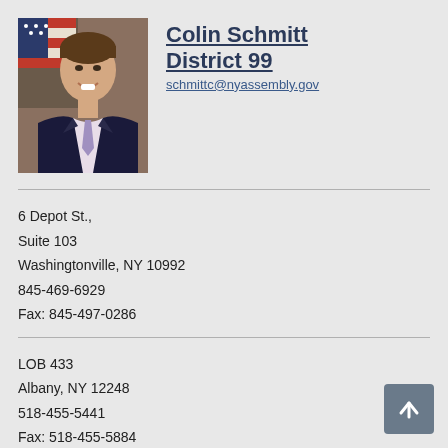[Figure (photo): Portrait photo of Colin Schmitt, a man in a dark suit and light purple tie, smiling, with an American flag in the background.]
Colin Schmitt
District 99
schmittc@nyassembly.gov
6 Depot St.,
Suite 103
Washingtonville, NY 10992
845-469-6929
Fax: 845-497-0286
LOB 433
Albany, NY 12248
518-455-5441
Fax: 518-455-5884